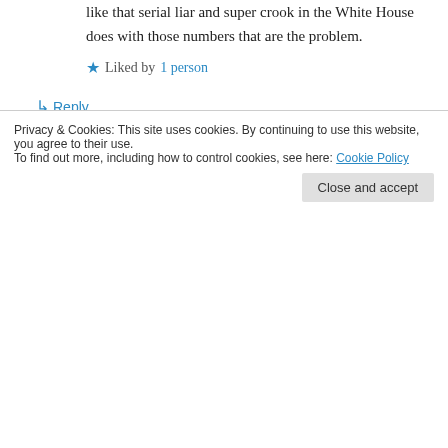like that serial liar and super crook in the White House does with those numbers that are the problem.
★ Liked by 1 person
↵ Reply
D. Parker on February 1, 2018 at 8:17 am
Yes and those who listen and let those be used, sadly. 🙂
Privacy & Cookies: This site uses cookies. By continuing to use this website, you agree to their use.
To find out more, including how to control cookies, see here: Cookie Policy